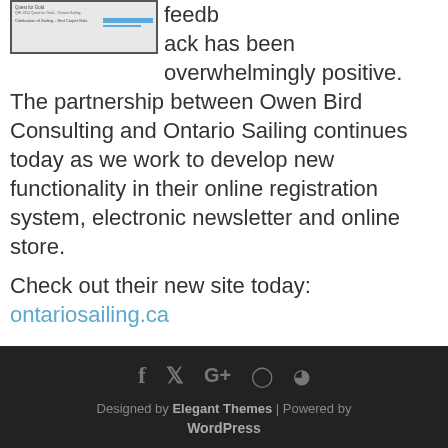[Figure (screenshot): Screenshot of Ontario Sailing website pages showing thumbnails including 'Quest for Gold' and 'Celebration of Sailing - Red Carpet Gala' sections]
feedback has been overwhelmingly positive. The partnership between Owen Bird Consulting and Ontario Sailing continues today as we work to develop new functionality in their online registration system, electronic newsletter and online store.
Check out their new site today: ontariosailing.ca
Are you interested in taking your web presence to the next level? If so, contact Owen today.
Designed by Elegant Themes | Powered by WordPress